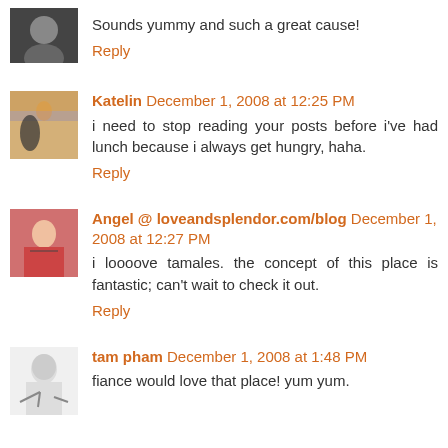Sounds yummy and such a great cause!
Reply
Katelin December 1, 2008 at 12:25 PM
i need to stop reading your posts before i've had lunch because i always get hungry, haha.
Reply
Angel @ loveandsplendor.com/blog December 1, 2008 at 12:27 PM
i loooove tamales. the concept of this place is fantastic; can't wait to check it out.
Reply
tam pham December 1, 2008 at 1:48 PM
fiance would love that place! yum yum.